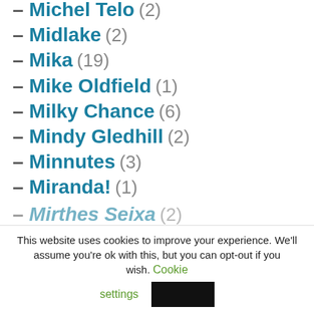– Michel Telo (2)
– Midlake (2)
– Mika (19)
– Mike Oldfield (1)
– Milky Chance (6)
– Mindy Gledhill (2)
– Minnutes (3)
– Miranda! (1)
– Mirthes Seixa (2)
This website uses cookies to improve your experience. We'll assume you're ok with this, but you can opt-out if you wish. Cookie settings